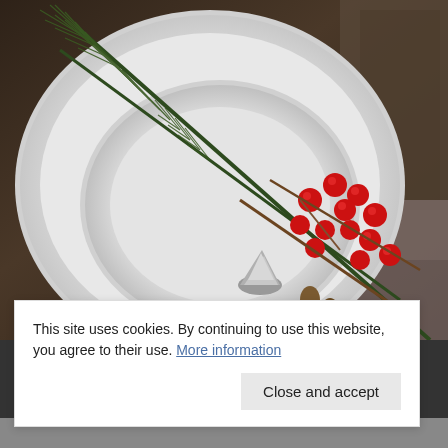[Figure (photo): Overhead view of white ceramic plates stacked on a rustic wooden surface with a grey linen cloth. A decorative branch of red holly berries and pine needles rests across the plates along with a small silver metallic cone ornament.]
This site uses cookies. By continuing to use this website, you agree to their use. More information
Close and accept